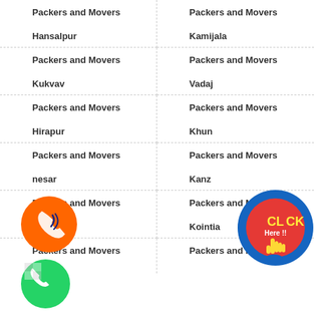Packers and Movers Hansalpur
Packers and Movers Kamijala
Packers and Movers Kukvav
Packers and Movers Vadaj
Packers and Movers Hirapur
Packers and Movers Khun
Packers and Movers Janesar
Packers and Movers Kanz
Packers and Movers i Boru
Packers and Movers Kointia
Packers and Movers
Packers and Movers